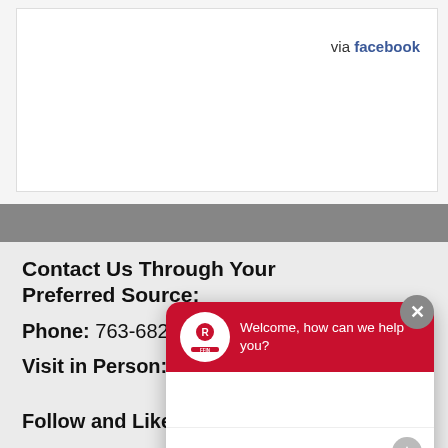via facebook
Contact Us Through Your Preferred Source:
Phone: 763-682-4247
Visit in Person: 2667 Dague Ave NE,
[Figure (screenshot): Chat widget overlay with red header showing logo and text 'Welcome, how can we help you?' with a message input field below]
Follow and Like us!